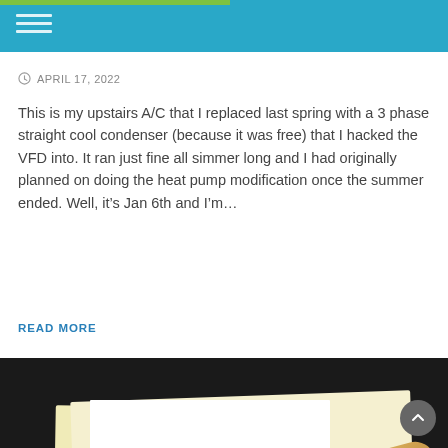Navigation header with hamburger menu
APRIL 17, 2022
This is my upstairs A/C that I replaced last spring with a 3 phase straight cool condenser (because it was free) that I hacked the VFD into. It ran just fine all simmer long and I had originally planned on doing the heat pump modification once the summer ended. Well, it’s Jan 6th and I’m…
READ MORE
[Figure (photo): A photo showing hands holding yellow/cream colored papers or documents against a dark background]